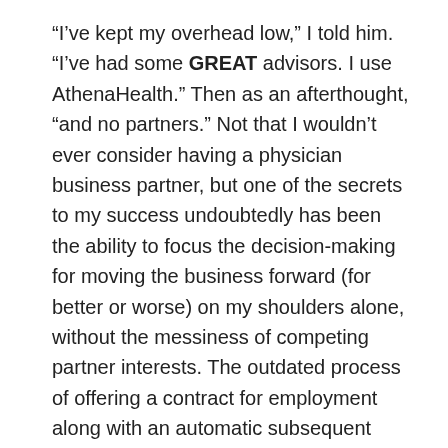“I’ve kept my overhead low,” I told him. “I’ve had some GREAT advisors. I use AthenaHealth.” Then as an afterthought, “and no partners.” Not that I wouldn’t ever consider having a physician business partner, but one of the secrets to my success undoubtedly has been the ability to focus the decision-making for moving the business forward (for better or worse) on my shoulders alone, without the messiness of competing partner interests. The outdated process of offering a contract for employment along with an automatic subsequent buy-in to the practice partnership has accounted for a great deal of the demise I’ve seen of the private practice model.